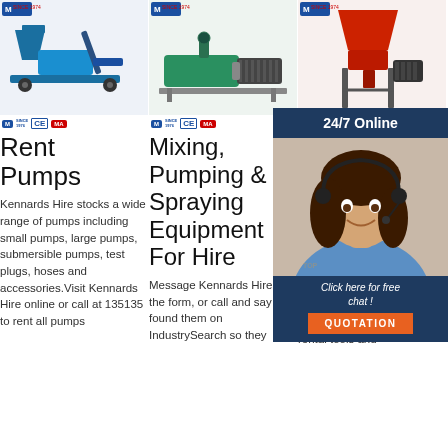[Figure (photo): Blue screw pump / cement pump machine with handle]
[Figure (photo): Green horizontal pump/compressor machine with motor]
[Figure (photo): Red hopper/blower machine on stand]
[Figure (photo): Customer service agent woman with headset - 24/7 online chat overlay with QUOTATION button]
Rent Pumps
Kennards Hire stocks a wide range of pumps including small pumps, large pumps, submersible pumps, test plugs, hoses and accessories.Visit Kennards Hire online or call at 135135 to rent all pumps
Mixing, Pumping & Spraying Equipment For Hire
Message Kennards Hire via the form, or call and say you found them on IndustrySearch so they
Ke Hi Da - P An Equipment
Kennards Hire DANDENONG carries a range of Pump and Power rental tools and